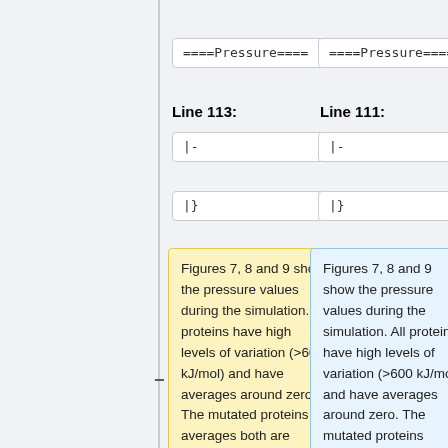====Pressure====
====Pressure====
Line 113:
Line 111:
|-
|-
|}
|}
Figures 7, 8 and 9 show the pressure values during the simulation. All proteins have high levels of variation (>600 kJ/mol) and have averages around zero. The mutated proteins averages both are slightly negative, but in the circumstances of the high overall variation this seems not significant.
Figures 7, 8 and 9 show the pressure values during the simulation. All proteins have high levels of variation (>600 kJ/mol) and have averages around zero. The mutated proteins averages both are slightly negative, but in the circumstances of the high overall variation this seems not significant. It is not expected that